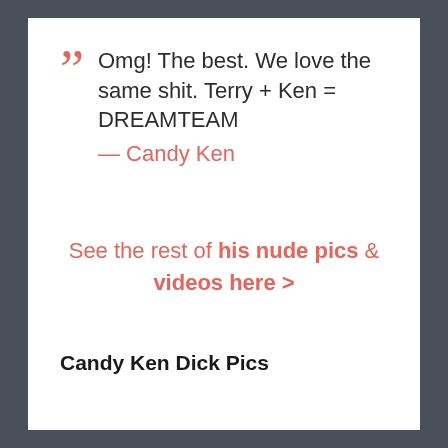Omg! The best. We love the same shit. Terry + Ken = DREAMTEAM — Candy Ken
See the rest of his nude pics & videos here >
Candy Ken Dick Pics